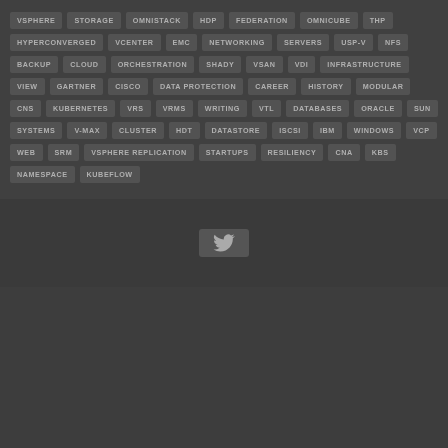[Figure (infographic): Tag cloud of technology keywords on dark background: VSPHERE, STORAGE, OMNISTACK, HDP, FEDERATION, OMNICUBE, THP, HYPERCONVERGED, VCENTER, EMC, NETWORKING, SERVERS, USP-V, NFS, BACKUP, CLOUD, ORCHESTRATION, SHADY, VSAN, VDI, INFRASTRUCTURE, VIEW, GARTNER, CISCO, DATA PROTECTION, CAREER, HISTORY, MODULAR, CNS, KUBERNETES, VRS, VRMS, WRITING, VTL, DATABASES, ORACLE, SUN, SYSTEMS, V-MAX, CLUSTER, HDT, DATASTORE, ISCSI, IBM, WINDOWS, VCP, WEB, SRM, VSPHERE REPLICATION, STARTUPS, RESILIENCY, CNA, KBS, NAMESPACE, KUBEFLOW]
[Figure (infographic): Bottom dark gray footer area with small Twitter bird icon button]